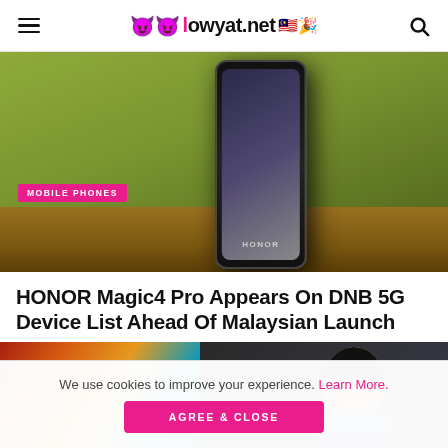lowyat.net
[Figure (photo): HONOR smartphone standing upright against a green/olive wall with wooden shelf, showing the HONOR logo on the back. A pink badge reads MOBILE PHONES.]
HONOR Magic4 Pro Appears On DNB 5G Device List Ahead Of Malaysian Launch
[Figure (photo): A smiling person in a striped shirt sitting in front of a colorful display screen with red, orange, and blue panels.]
We use cookies to improve your experience. Learn More.
AGREE & CLOSE